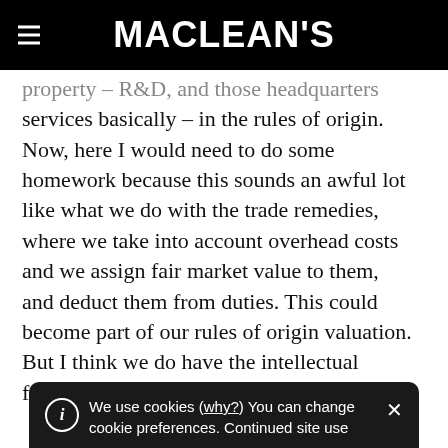MACLEAN'S
property – R&D, and those headquarters services basically – in the rules of origin. Now, here I would need to do some homework because this sounds an awful lot like what we do with the trade remedies, where we take into account overhead costs and we assign fair market value to them, and deduct them from duties. This could become part of our rules of origin valuation. But I think we do have the intellectual framework for that already in the trade
We use cookies (why?) You can change cookie preferences. Continued site use